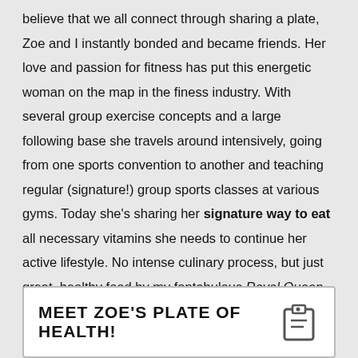believe that we all connect through sharing a plate, Zoe and I instantly bonded and became friends. Her love and passion for fitness has put this energetic woman on the map in the finess industry. With several group exercise concepts and a large following base she travels around intensively, going from one sports convention to another and teaching regular (signature!) group sports classes at various gyms. Today she's sharing her signature way to eat all necessary vitamins she needs to continue her active lifestyle. No intense culinary process, but just great, healthy food by my fantabulous Royal Queen of Fitness: Zoe McNulty!
MEET ZOE'S PLATE OF HEALTH!